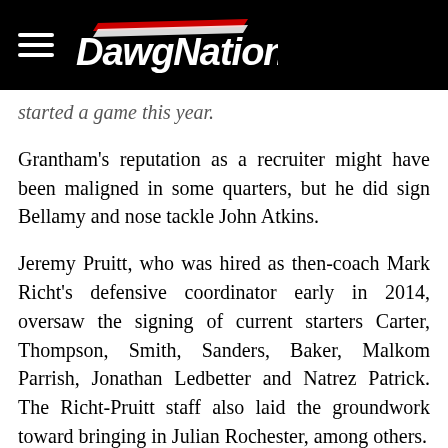DawgNation
started a game this year.
Grantham's reputation as a recruiter might have been maligned in some quarters, but he did sign Bellamy and nose tackle John Atkins.
Jeremy Pruitt, who was hired as then-coach Mark Richt's defensive coordinator early in 2014, oversaw the signing of current starters Carter, Thompson, Smith, Sanders, Baker, Malkom Parrish, Jonathan Ledbetter and Natrez Patrick. The Richt-Pruitt staff also laid the groundwork toward bringing in Julian Rochester, among others.
Smart knew many of these players when he arrived, having recruited them when he was an assistant coach at Alabama. So he knew there was potential there, and in the end, he was right.